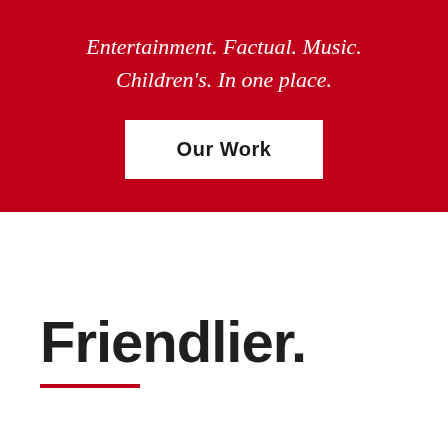Entertainment.  Factual.  Music. Children's.  In one place.
[Figure (other): White rectangular button with bold text 'Our Work' on red background]
Friendlier.